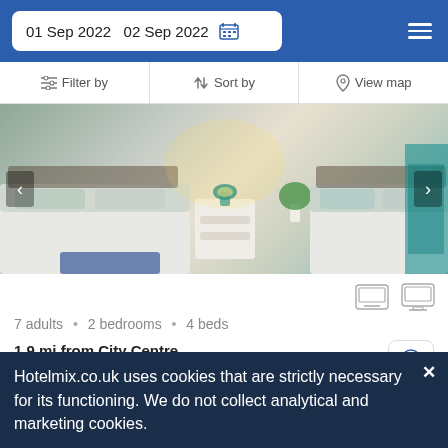01 Sep 2022  02 Sep 2022
Filter by  |  Sort by  |  View map
[Figure (photo): Interior photo of a bedroom with two single beds, white bedding with teal/green pillows, a white bedside table with a teal lamp, and teal curtains on the right.]
7 adults · 2 bedrooms · 4 beds
1.9 mi from City Centre
1500 yd from Sheffield Manor Lodge
Offering a fully-fitted kitchen equipped with a microwave and a toaster, this villa is set near The Chimney House
Hotelmix.co.uk uses cookies that are strictly necessary for its functioning. We do not collect analytical and marketing cookies.